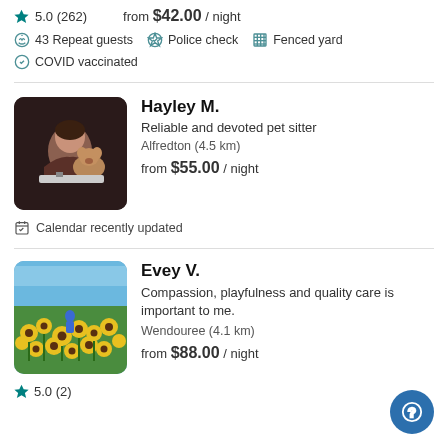5.0 (262)  from $42.00 / night
43 Repeat guests
Police check
Fenced yard
COVID vaccinated
Hayley M.
Reliable and devoted pet sitter
Alfredton (4.5 km)
from $55.00 / night
Calendar recently updated
Evey V.
Compassion, playfulness and quality care is important to me.
Wendouree (4.1 km)
5.0 (2)
from $88.00 / night